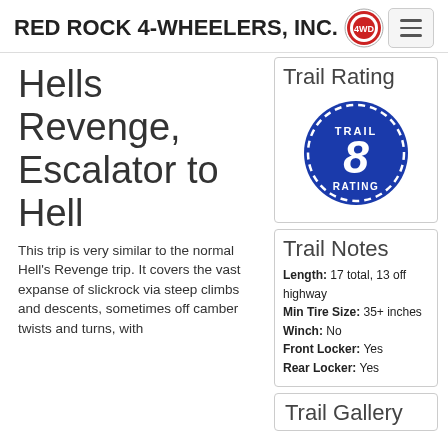RED ROCK 4-WHEELERS, INC.
Hells Revenge, Escalator to Hell
This trip is very similar to the normal Hell's Revenge trip. It covers the vast expanse of slickrock via steep climbs and descents, sometimes off camber twists and turns, with
[Figure (other): Trail Rating badge showing number 8 in blue circle with dashed border and text TRAIL RATING]
Trail Rating
Trail Notes
Length: 17 total, 13 off highway
Min Tire Size: 35+ inches
Winch: No
Front Locker: Yes
Rear Locker: Yes
Trail Gallery